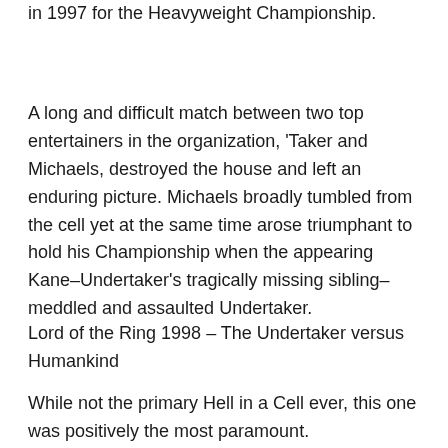in 1997 for the Heavyweight Championship.
A long and difficult match between two top entertainers in the organization, 'Taker and Michaels, destroyed the house and left an enduring picture. Michaels broadly tumbled from the cell yet at the same time arose triumphant to hold his Championship when the appearing Kane–Undertaker's tragically missing sibling–meddled and assaulted Undertaker.
Lord of the Ring 1998 – The Undertaker versus Humankind
While not the primary Hell in a Cell ever, this one was positively the most paramount.